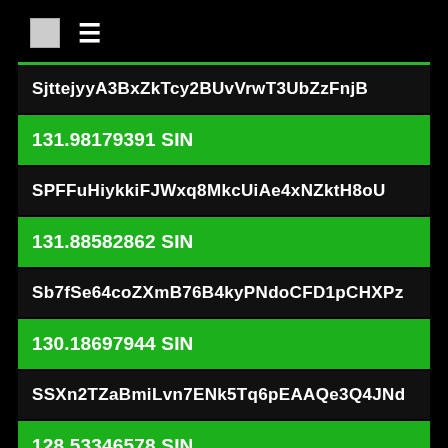☰
SjttejyyA3BxZkTcy2BUvVrwT3UbZzFnjB
131.98179391 SIN
SPFFuHiykkiFJWxq8MkcUiAe4xNZktH8oU
131.88582862 SIN
Sb7fSe64coZXmB76B4kyPNdoCFD1pCHXPz
130.18697944 SIN
SSXn2TZaBmiLvn7ENk5Tq6pEAAQe3Q4JNd
128.53346578 SIN
Scs4GSWG7bX5yV5N9w37JwTCnmBj7zvFTZ
127.46692130 SIN